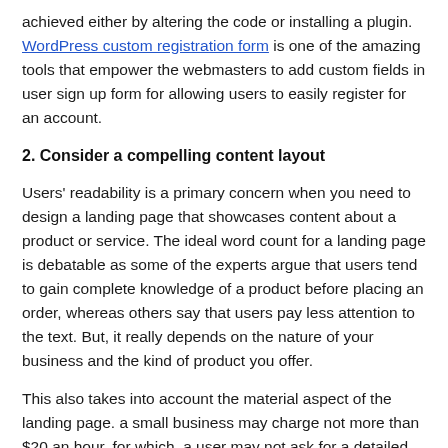achieved either by altering the code or installing a plugin. WordPress custom registration form is one of the amazing tools that empower the webmasters to add custom fields in user sign up form for allowing users to easily register for an account.
2. Consider a compelling content layout
Users' readability is a primary concern when you need to design a landing page that showcases content about a product or service. The ideal word count for a landing page is debatable as some of the experts argue that users tend to gain complete knowledge of a product before placing an order, whereas others say that users pay less attention to the text. But, it really depends on the nature of your business and the kind of product you offer.
This also takes into account the material aspect of the landing page. a small business may charge not more than $20 an hour, for which, a user may not ask for a detailed list of qualities, attributes, and advantages. But, a website that aims to sell a thousand dollar mountain bike will surely need to list down all the features, quality material, manufacturers'